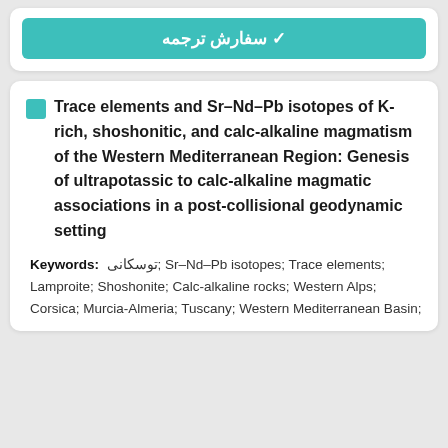✓ سفارش ترجمه
Trace elements and Sr–Nd–Pb isotopes of K-rich, shoshonitic, and calc-alkaline magmatism of the Western Mediterranean Region: Genesis of ultrapotassic to calc-alkaline magmatic associations in a post-collisional geodynamic setting
Keywords: توسکانی; Sr–Nd–Pb isotopes; Trace elements; Lamproite; Shoshonite; Calc-alkaline rocks; Western Alps; Corsica; Murcia-Almeria; Tuscany; Western Mediterranean Basin;